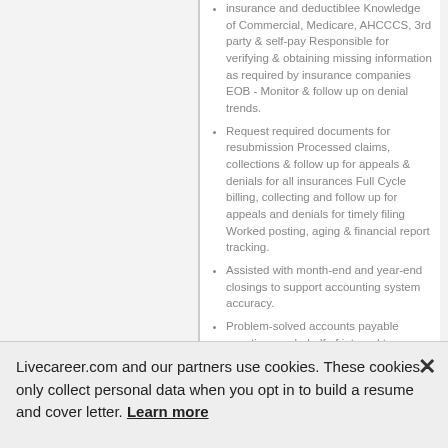insurance and deductiblee Knowledge of Commercial, Medicare, AHCCCS, 3rd party & self-pay Responsible for verifying & obtaining missing information as required by insurance companies EOB - Monitor & follow up on denial trends.
Request required documents for resubmission Processed claims, collections & follow up for appeals & denials for all insurances Full Cycle billing, collecting and follow up for appeals and denials for timely filing Worked posting, aging & financial report tracking.
Assisted with month-end and year-end closings to support accounting system accuracy.
Problem-solved accounts payable questions on behalf of internal team members, management and
Livecareer.com and our partners use cookies. These cookies only collect personal data when you opt in to build a resume and cover letter. Learn more